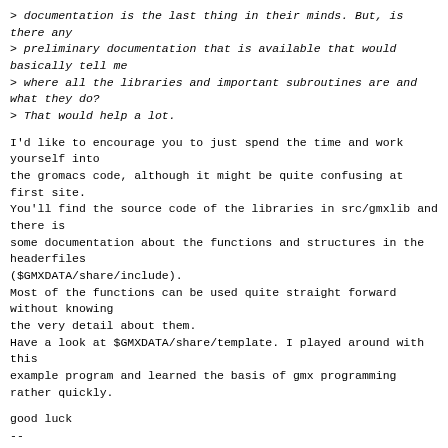> documentation is the last thing in their minds. But, is there any
> preliminary documentation that is available that would basically tell me
> where all the libraries and important subroutines are and what they do?
> That would help a lot.
I'd like to encourage you to just spend the time and work yourself into
the gromacs code, although it might be quite confusing at first site.
You'll find the source code of the libraries in src/gmxlib and there is
some documentation about the functions and structures in the headerfiles
($GMXDATA/share/include).
Most of the functions can be used quite straight forward without knowing
the very detail about them.
Have a look at $GMXDATA/share/template. I played around with this
example program and learned the basis of gmx programming rather quickly.
good luck
--
Christoph Freudenberger
Abt. Organische Chemie I AK Siehl - Uni Ulm -Tel: ++49-731-502-2785